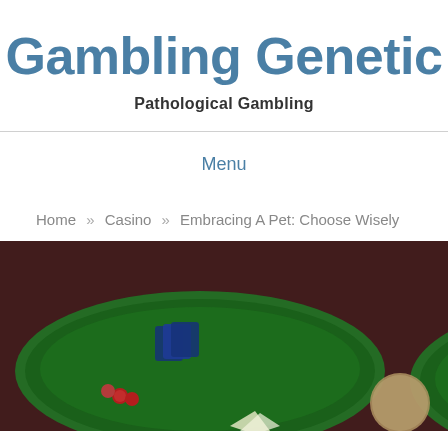Gambling Genetic
Pathological Gambling
Menu
Home » Casino » Embracing A Pet: Choose Wisely
[Figure (photo): Blurred photo of casino card tables with green felt surfaces, playing cards, and casino chips visible on two adjacent tables]